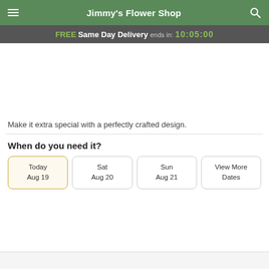Jimmy's Flower Shop
FREE Same Day Delivery ends in: 10:05:00
Make it extra special with a perfectly crafted design.
When do you need it?
Today
Aug 19
Sat
Aug 20
Sun
Aug 21
View More Dates